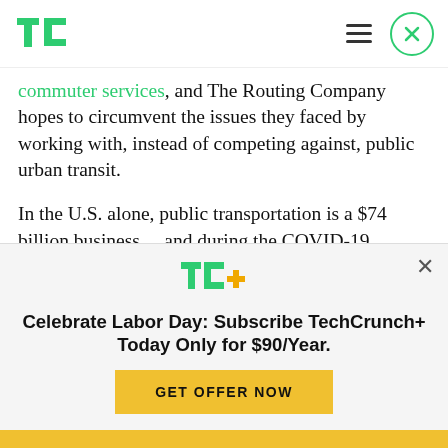TechCrunch logo, hamburger menu, close button
commuter services, and The Routing Company hopes to circumvent the issues they faced by working with, instead of competing against, public urban transit.
In the U.S. alone, public transportation is a $74 billion business… and during the COVID-19 pandemic it's a business that's suffering greatly.
[Figure (logo): TC+ TechCrunch Plus logo with green TC letters and orange plus sign]
Celebrate Labor Day: Subscribe TechCrunch+ Today Only for $90/Year.
GET OFFER NOW